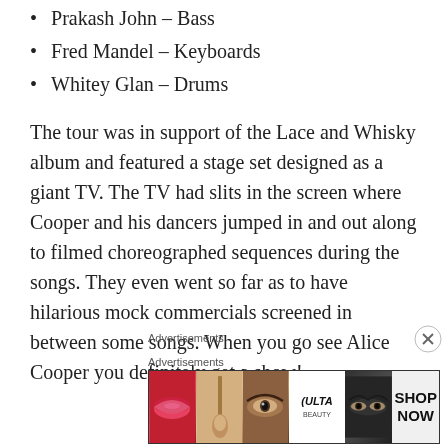Prakash John – Bass
Fred Mandel – Keyboards
Whitey Glan – Drums
The tour was in support of the Lace and Whisky album and featured a stage set designed as a giant TV. The TV had slits in the screen where Cooper and his dancers jumped in and out along to filmed choreographed sequences during the songs. They even went so far as to have hilarious mock commercials screened in between some songs. When you go see Alice Cooper you definitely get a show!
Advertisements
Advertisements
[Figure (photo): Ulta beauty advertisement banner showing close-up images of lips with lipstick, makeup brush, eye with makeup, Ulta logo, eyes with dramatic makeup, and SHOP NOW text]